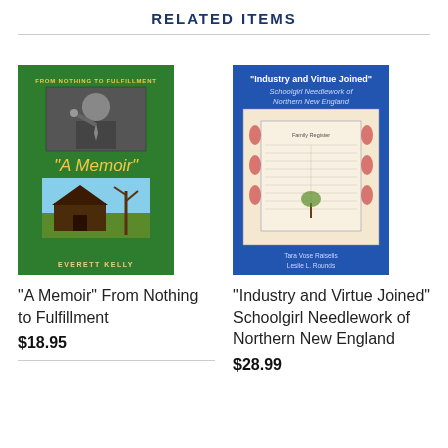RELATED ITEMS
[Figure (illustration): Book cover: 'A Memoir' From Nothing to Fulfillment by Everett Kelly. Green cover with yellow text, black-and-white photo of man, cabin scene at bottom.]
[Figure (illustration): Book cover: 'Industry and Virtue Joined' Schoolgirl Needlework of Northern New England by Tara Vose Raiselis and Leslie L. Rounds. Blue cover with needlework sampler image.]
"A Memoir" From Nothing to Fulfillment
$18.95
"Industry and Virtue Joined" Schoolgirl Needlework of Northern New England
$28.99